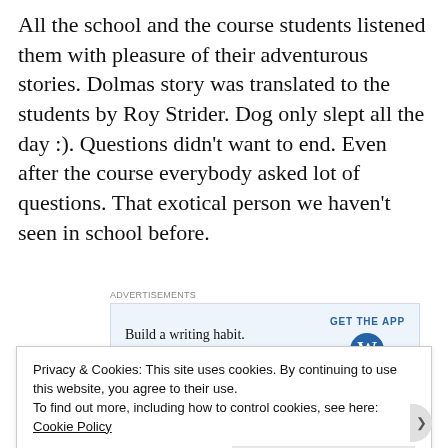All the school and the course students listened them with pleasure of their adventurous stories. Dolmas story was translated to the students by Roy Strider. Dog only slept all the day :). Questions didn't want to end. Even after the course everybody asked lot of questions. That exotical person we haven't seen in school before.
[Figure (other): Advertisement banner: 'Build a writing habit. Post on the go.' with GET THE APP button and WordPress logo]
Privacy & Cookies: This site uses cookies. By continuing to use this website, you agree to their use.
To find out more, including how to control cookies, see here: Cookie Policy
Close and accept